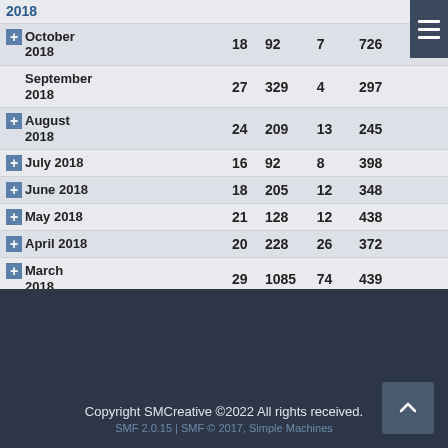| Period | Col1 | Col2 | Col3 | Col4 |
| --- | --- | --- | --- | --- |
| 2018 (partial header) |  |  |  |  |
| October 2018 | 18 | 92 | 7 | 726 |
| September 2018 | 27 | 329 | 4 | 297 |
| August 2018 | 24 | 209 | 13 | 245 |
| July 2018 | 16 | 92 | 8 | 398 |
| June 2018 | 18 | 205 | 12 | 348 |
| May 2018 | 21 | 128 | 12 | 438 |
| April 2018 | 20 | 228 | 26 | 372 |
| March 2018 | 29 | 1085 | 74 | 439 |
| February 2018 | 16 | 930 | 16 | 446 |
| January 2018 | 35 | 325 | 39 | 343 |
| 2017 | 68 | 989 | 185 | 326 |
Copyright SMCreative ©2022 All rights received. SMF 2.0.15 | SMF © 2017, Simple Machines